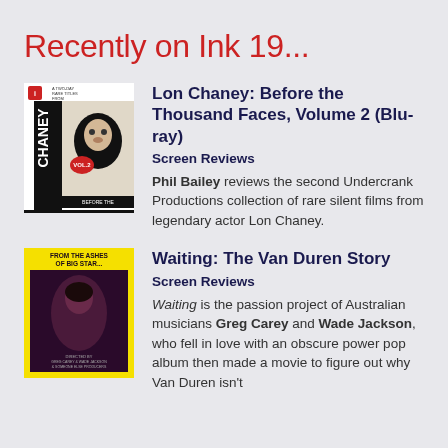Recently on Ink 19...
[Figure (illustration): Book/Blu-ray cover for Lon Chaney: Before the Thousand Faces, Volume 2 — black and white cover with CHANEY text and portrait photo, red logo top left]
Lon Chaney: Before the Thousand Faces, Volume 2 (Blu-ray)
Screen Reviews
Phil Bailey reviews the second Undercrank Productions collection of rare silent films from legendary actor Lon Chaney.
[Figure (photo): Movie poster for Waiting: The Van Duren Story — yellow border with dark image of musician, text FROM THE ASHES OF BIG STAR... at top]
Waiting: The Van Duren Story
Screen Reviews
Waiting is the passion project of Australian musicians Greg Carey and Wade Jackson, who fell in love with an obscure power pop album then made a movie to figure out why Van Duren isn't